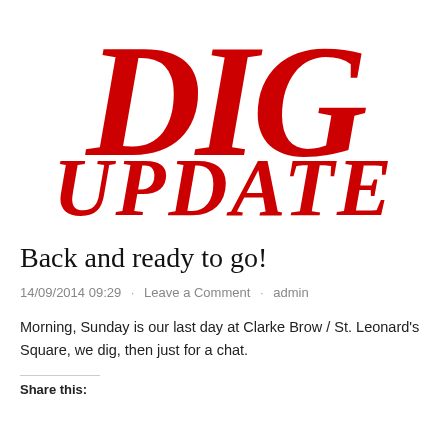[Figure (logo): Large red bold italic text logo reading 'DIG UPDATE' with stencil-style serif font on white background]
Back and ready to go!
14/09/2014 09:29  ·  Leave a Comment  ·  admin
Morning, Sunday is our last day at Clarke Brow / St. Leonard's Square, we dig, then just for a chat.
Share this: